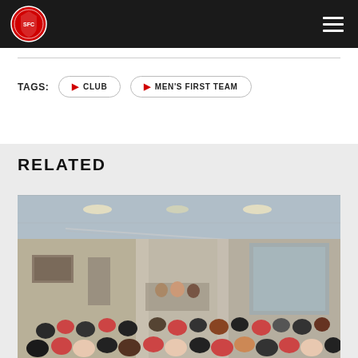Southampton FC navigation header with logo and menu
TAGS:  ▶ CLUB  ▶ MEN'S FIRST TEAM
RELATED
[Figure (photo): Interior of a conference or hospitality room filled with seated audience members, with a speaker or panel at the front. The room has a suspended ceiling with lighting, columns, and large windows.]